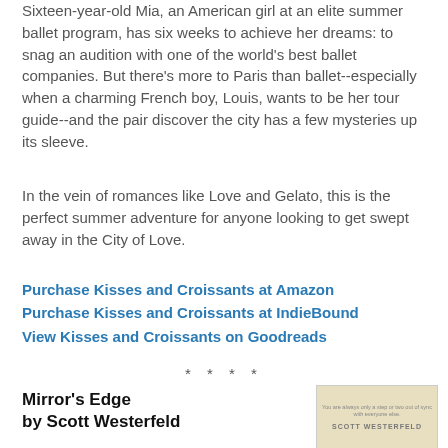Sixteen-year-old Mia, an American girl at an elite summer ballet program, has six weeks to achieve her dreams: to snag an audition with one of the world's best ballet companies. But there's more to Paris than ballet--especially when a charming French boy, Louis, wants to be her tour guide--and the pair discover the city has a few mysteries up its sleeve.
In the vein of romances like Love and Gelato, this is the perfect summer adventure for anyone looking to get swept away in the City of Love.
Purchase Kisses and Croissants at Amazon
Purchase Kisses and Croissants at IndieBound
View Kisses and Croissants on Goodreads
* * * *
Mirror's Edge
by Scott Westerfeld
[Figure (photo): Book cover of Mirror's Edge by Scott Westerfeld with a tan/beige background and author name in bold letters]